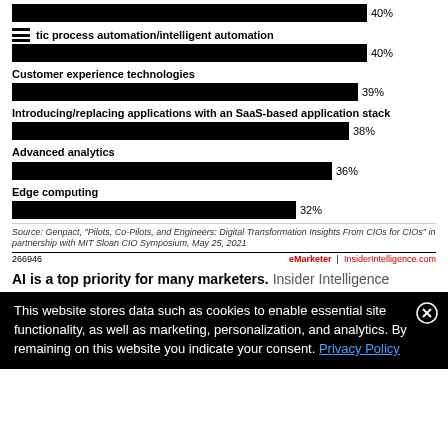[Figure (bar-chart): Top technology priorities (partial)]
Source: Genpact, "Pilots, Co-Pilots, and Engineers: Digital Transformation Insights From CIOs for CIOs" in partnership with MIT Sloan CIO Symposium, May 25, 2021
266946   eMarketer | InsiderIntelligence.com
AI is a top priority for many marketers. Insider Intelligence
This website stores data such as cookies to enable essential site functionality, as well as marketing, personalization, and analytics. By remaining on this website you indicate your consent. Privacy Policy